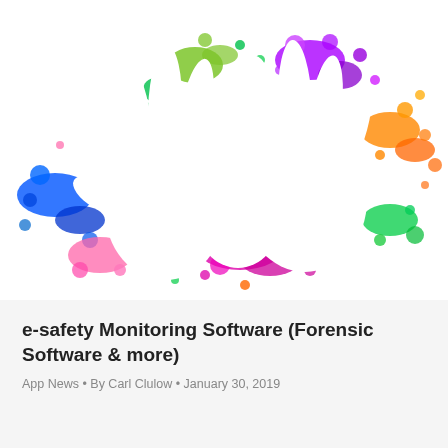[Figure (illustration): Colorful paint splatter handprint artwork showing multiple white hand silhouettes (adult and child) against a white background with vibrant multicolored paint splashes in green, purple, orange, blue, red, yellow, and pink.]
e-safety Monitoring Software (Forensic Software & more)
App News • By Carl Clulow • January 30, 2019